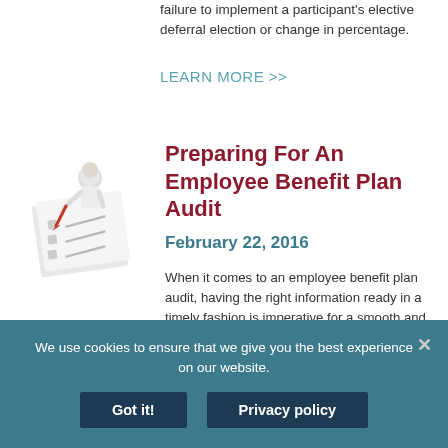failure to implement a participant's elective deferral election or change in percentage.
LEARN MORE >>
[Figure (illustration): A small figurine of a person in white holding a red pencil, standing next to a checklist document with checkboxes.]
Preparing For An Employee Benefit Plan Audit
February 22, 2016
When it comes to an employee benefit plan audit, having the right information ready in a timely fashion is imperative for a smooth and efficient audit. Since the retirement plan audit season is now going strong I am providing a link to the AICPA's EBPAQC 403(b) Retirement Plan Audits Sample Auditor
We use cookies to ensure that we give you the best experience on our website.
Got it!
Privacy policy